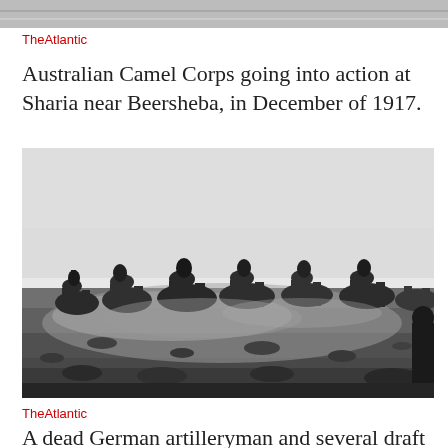[Figure (photo): Top portion of a black-and-white historical photograph (cropped, showing only the upper edge with sky/landscape texture)]
TheAtlantic
Australian Camel Corps going into action at Sharia near Beersheba, in December of 1917.
[Figure (photo): Black-and-white historical photograph showing the Australian Camel Corps riding camels across a desert landscape near Beersheba, December 1917. A large group of soldiers on camels moving across dusty scrubland.]
TheAtlantic
A dead German artilleryman and several draft horses